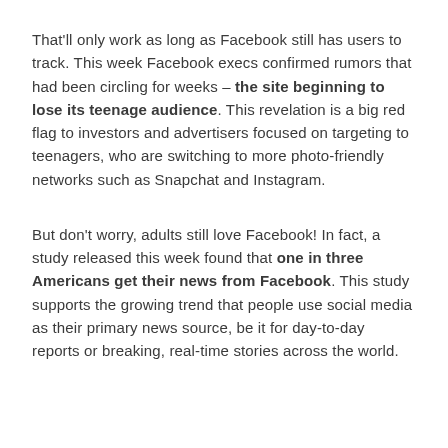That'll only work as long as Facebook still has users to track. This week Facebook execs confirmed rumors that had been circling for weeks – the site beginning to lose its teenage audience. This revelation is a big red flag to investors and advertisers focused on targeting to teenagers, who are switching to more photo-friendly networks such as Snapchat and Instagram.
But don't worry, adults still love Facebook! In fact, a study released this week found that one in three Americans get their news from Facebook. This study supports the growing trend that people use social media as their primary news source, be it for day-to-day reports or breaking, real-time stories across the world.